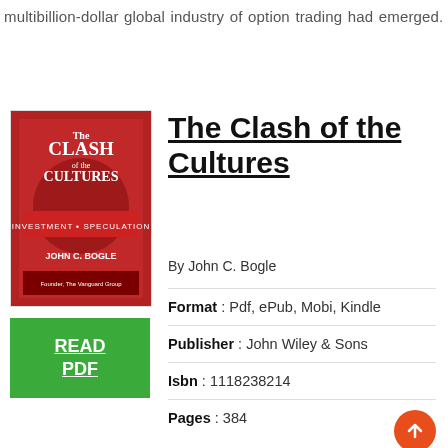multibillion-dollar global industry of option trading had emerged.
[Figure (photo): Book cover of 'The Clash of the Cultures: Investment vs Speculation' by John C. Bogle, red cover with white text]
The Clash of the Cultures
By John C. Bogle
| Field | Value |
| --- | --- |
| Format | Pdf, ePub, Mobi, Kindle |
| Publisher | John Wiley & Sons |
| Isbn | 1118238214 |
| Pages | 384 |
| Category | Business & Economics |
| Reads | 728 |